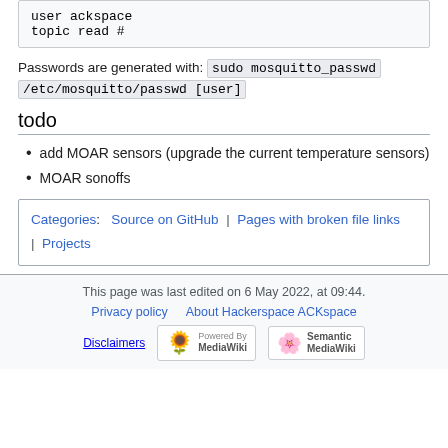user ackspace
topic read #
Passwords are generated with: sudo mosquitto_passwd /etc/mosquitto/passwd [user]
todo
add MOAR sensors (upgrade the current temperature sensors)
MOAR sonoffs
Categories: Source on GitHub | Pages with broken file links | Projects
This page was last edited on 6 May 2022, at 09:44.
Privacy policy  About Hackerspace ACKspace
Disclaimers  Powered By MediaWiki  Semantic MediaWiki